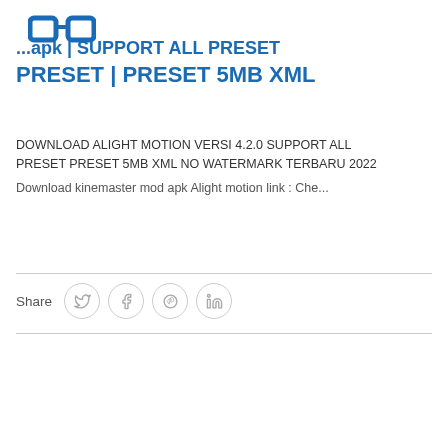[Figure (logo): Blue glasses/spectacles icon logo]
...apk | SUPPORT ALL PRESET | PRESET 5MB XML
DOWNLOAD ALIGHT MOTION VERSI 4.2.0 SUPPORT ALL PRESET PRESET 5MB XML NO WATERMARK TERBARU 2022
Download kinemaster mod apk Alight motion link : Che...
Share
[Figure (infographic): Social share buttons: Twitter, Facebook, Pinterest, LinkedIn icons in circular outlines]